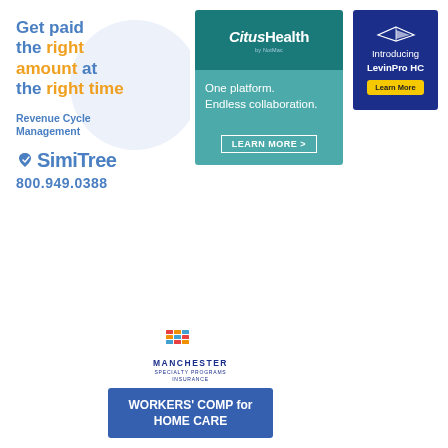[Figure (illustration): SimiTree Revenue Cycle Management advertisement with text: Get paid the right amount at the right time. Revenue Cycle Management. SimiTree logo. 800.949.0388]
[Figure (illustration): CitusHealth advertisement: One platform. Endless collaboration. LEARN MORE >]
[Figure (illustration): LevinPro HC advertisement: Introducing LevinPro HC. Learn More button.]
[Figure (illustration): Manchester Specialty Programs Insurance advertisement: Workers' Comp for Home Care]